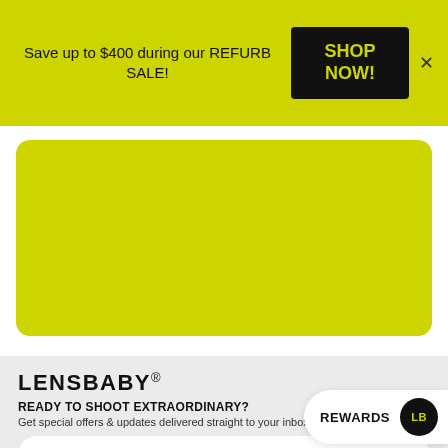Save up to $400 during our REFURB SALE!
SHOP NOW!
[Figure (illustration): Yellow-green rounded rectangle card area, solid yellow-green fill, no content]
[Figure (logo): LENSBABY. logo in bold black uppercase letters]
READY TO SHOOT EXTRAORDINARY?
Get special offers & updates delivered straight to your inbox!
ENTER YOUR EMAIL ADDRESS
REWARDS LB